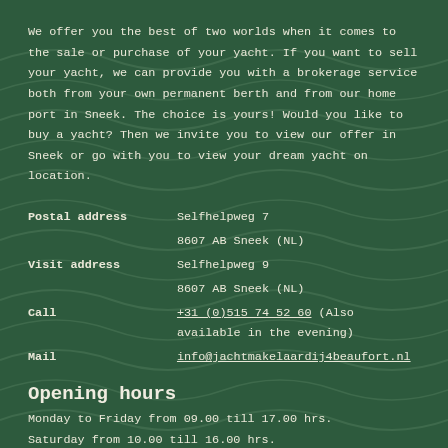We offer you the best of two worlds when it comes to the sale or purchase of your yacht. If you want to sell your yacht, we can provide you with a brokerage service both from your own permanent berth and from our home port in Sneek. The choice is yours! Would you like to buy a yacht? Then we invite you to view our offer in Sneek or go with you to view your dream yacht on location.
| Postal address | Selfhelpweg 7 |
|  | 8607 AB Sneek (NL) |
| Visit address | Selfhelpweg 9 |
|  | 8607 AB Sneek (NL) |
| Call | +31 (0)515 74 52 60 (Also available in the evening) |
| Mail | info@jachtmakelaardij4beaufort.nl |
Opening hours
Monday to Friday from 09.00 till 17.00 hrs.
Saturday from 10.00 till 16.00 hrs.
Sunday available by appointment